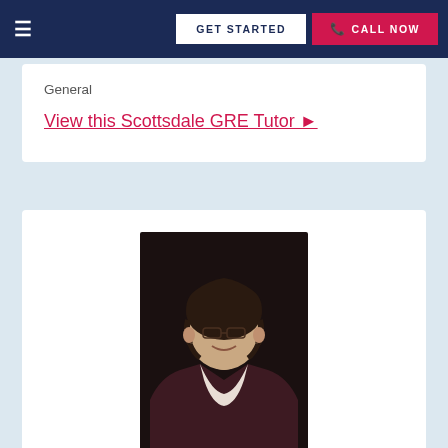GET STARTED | CALL NOW
General
View this Scottsdale GRE Tutor ▶
[Figure (photo): Professional headshot of a young woman with short curly dark hair, smiling, wearing a dark maroon blazer and white shirt, photographed against a dark background.]